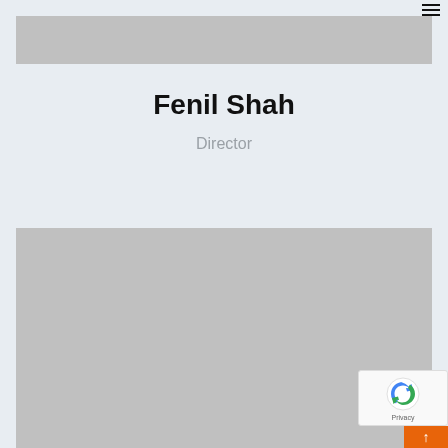[Figure (photo): Top gray image placeholder, partially cropped at top of page]
Fenil Shah
Director
[Figure (photo): Large gray image placeholder below the name and title]
[Figure (other): reCAPTCHA privacy badge in bottom right corner]
[Figure (other): Orange scroll-to-top button with upward arrow]